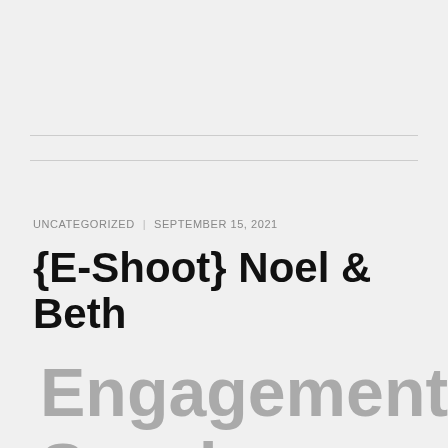UNCATEGORIZED | SEPTEMBER 15, 2021
{E-Shoot} Noel & Beth
Engagement Session